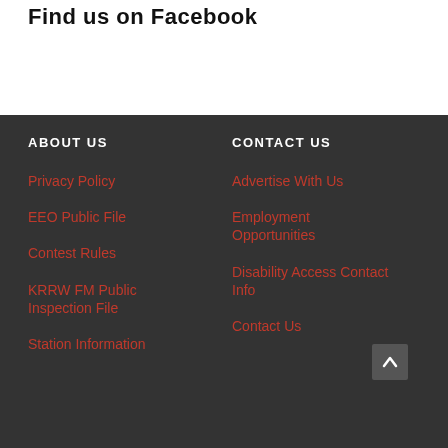Find us on Facebook
ABOUT US
Privacy Policy
EEO Public File
Contest Rules
KRRW FM Public Inspection File
Station Information
CONTACT US
Advertise With Us
Employment Opportunities
Disability Access Contact Info
Contact Us